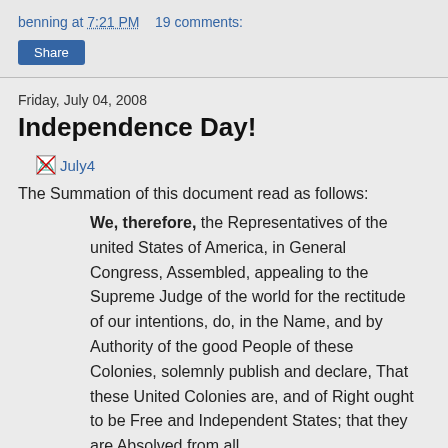benning at 7:21 PM   19 comments:
Share
Friday, July 04, 2008
Independence Day!
[Figure (illustration): Broken image placeholder labeled 'July4']
The Summation of this document read as follows:
We, therefore, the Representatives of the united States of America, in General Congress, Assembled, appealing to the Supreme Judge of the world for the rectitude of our intentions, do, in the Name, and by Authority of the good People of these Colonies, solemnly publish and declare, That these United Colonies are, and of Right ought to be Free and Independent States; that they are Absolved from all